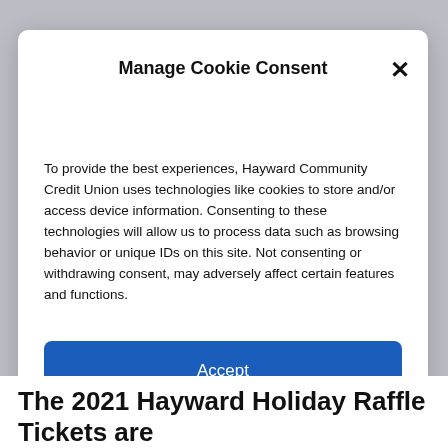Manage Cookie Consent
To provide the best experiences, Hayward Community Credit Union uses technologies like cookies to store and/or access device information. Consenting to these technologies will allow us to process data such as browsing behavior or unique IDs on this site. Not consenting or withdrawing consent, may adversely affect certain features and functions.
Accept
The 2021 Hayward Holiday Raffle Tickets are